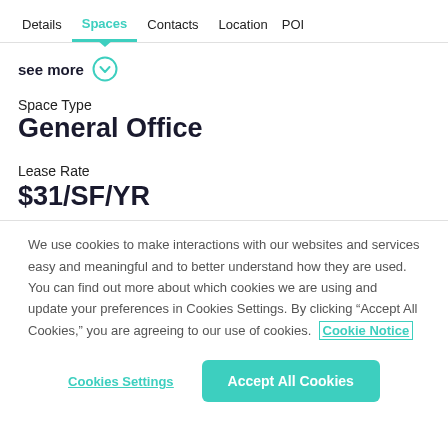Details  Spaces  Contacts  Location  POI
see more
Space Type
General Office
Lease Rate
$31/SF/YR
We use cookies to make interactions with our websites and services easy and meaningful and to better understand how they are used. You can find out more about which cookies we are using and update your preferences in Cookies Settings. By clicking “Accept All Cookies,” you are agreeing to our use of cookies.  Cookie Notice
Cookies Settings
Accept All Cookies